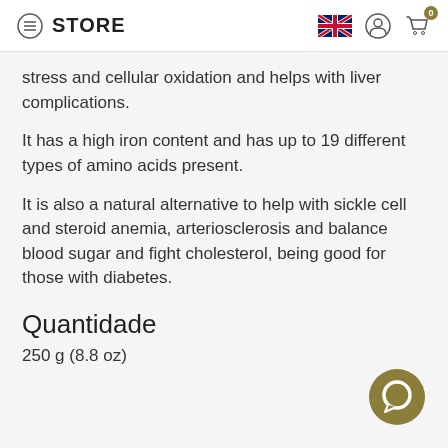STORE
stress and cellular oxidation and helps with liver complications.
It has a high iron content and has up to 19 different types of amino acids present.
It is also a natural alternative to help with sickle cell and steroid anemia, arteriosclerosis and balance blood sugar and fight cholesterol, being good for those with diabetes.
Quantidade
250 g (8.8 oz)